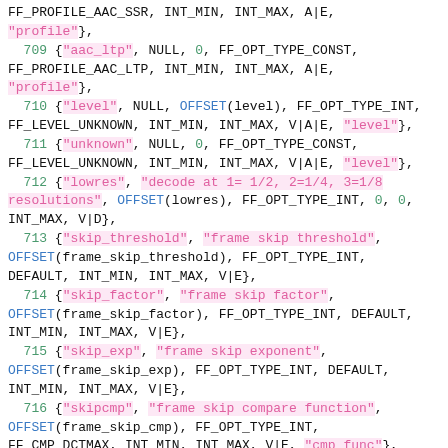FF_PROFILE_AAC_SSR, INT_MIN, INT_MAX, A|E, "profile"},
  709 {"aac_ltp", NULL, 0, FF_OPT_TYPE_CONST, FF_PROFILE_AAC_LTP, INT_MIN, INT_MAX, A|E, "profile"},
  710 {"level", NULL, OFFSET(level), FF_OPT_TYPE_INT, FF_LEVEL_UNKNOWN, INT_MIN, INT_MAX, V|A|E, "level"},
  711 {"unknown", NULL, 0, FF_OPT_TYPE_CONST, FF_LEVEL_UNKNOWN, INT_MIN, INT_MAX, V|A|E, "level"},
  712 {"lowres", "decode at 1= 1/2, 2=1/4, 3=1/8 resolutions", OFFSET(lowres), FF_OPT_TYPE_INT, 0, 0, INT_MAX, V|D},
  713 {"skip_threshold", "frame skip threshold", OFFSET(frame_skip_threshold), FF_OPT_TYPE_INT, DEFAULT, INT_MIN, INT_MAX, V|E},
  714 {"skip_factor", "frame skip factor", OFFSET(frame_skip_factor), FF_OPT_TYPE_INT, DEFAULT, INT_MIN, INT_MAX, V|E},
  715 {"skip_exp", "frame skip exponent", OFFSET(frame_skip_exp), FF_OPT_TYPE_INT, DEFAULT, INT_MIN, INT_MAX, V|E},
  716 {"skipcmp", "frame skip compare function", OFFSET(frame_skip_cmp), FF_OPT_TYPE_INT, FF_CMP_DCTMAX, INT_MIN, INT_MAX, V|E, "cmp_func"},
  717 {"border_mask", "increases the quantizer for